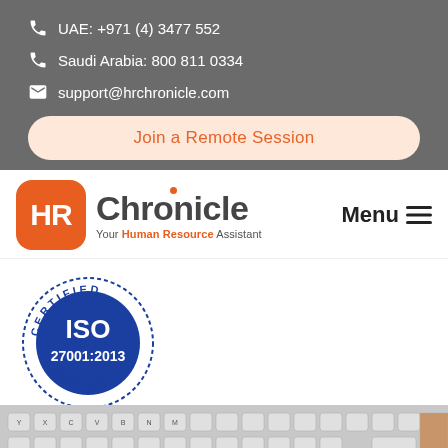UAE: +971 (4) 3477 552
Saudi Arabia: 800 811 0334
support@hrchronicle.com
Join a Remote Session
[Figure (logo): HR Chronicle logo with orange rounded square HR icon and Chronicle text with tagline 'Your Human Resource Assistant']
Menu
[Figure (logo): ISO 27001:2013 Certified Company circular stamp badge in blue and white]
[Figure (photo): Partial view of a white computer keyboard at the bottom of the page]